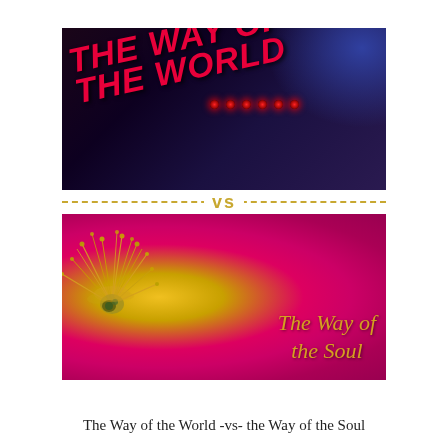[Figure (illustration): Split image composition: top half shows 'THE WAY OF THE WORLD' text in bold italic red/pink on a dark purple/black moody background with small red LED-like dots; a dashed gold horizontal 'vs' divider separates the two halves; bottom half shows a close-up of a vibrant magenta/pink flower with golden stamens and the text 'The Way of the Soul' in italic gold.]
The Way of the World -vs- the Way of the Soul